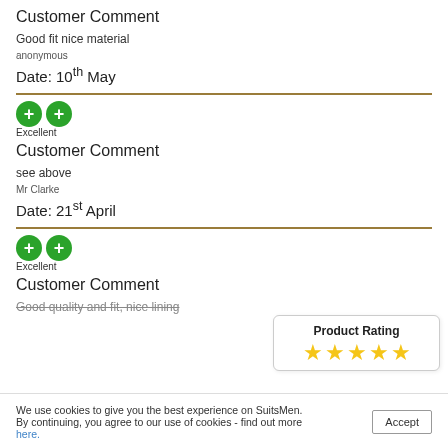Customer Comment
Good fit nice material
anonymous
Date: 10th May
[Figure (other): Two green circle plus icons indicating Excellent rating]
Excellent
Customer Comment
see above
Mr Clarke
Date: 21st April
[Figure (other): Two green circle plus icons indicating Excellent rating]
Excellent
Customer Comment
Good quality and fit, nice lining
Product Rating
[Figure (other): 5 yellow stars product rating]
We use cookies to give you the best experience on SuitsMen. By continuing, you agree to our use of cookies - find out more here.